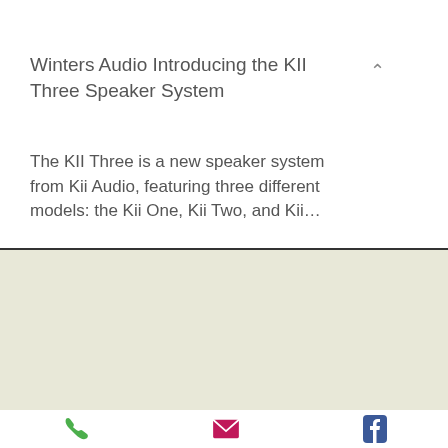Winters Audio Introducing the KII Three Speaker System
The KII Three is a new speaker system from Kii Audio, featuring three different models: the Kii One, Kii Two, and Kii…
© 2022 by winters audio ltd
Thursford | Norfolk | NR21 0BJ UK |
Tel. (44) 01328 878313 / 07880723987
Email: info@wintersaudio.co.uk
Our World Class Brand:
Aries Cerat | Mola Mola | Lumin | Soulution | Gryphon | TAD Labs | Alta Audio | Maxonic |
Kii Audio | Plinius | Lerma Design | TW…